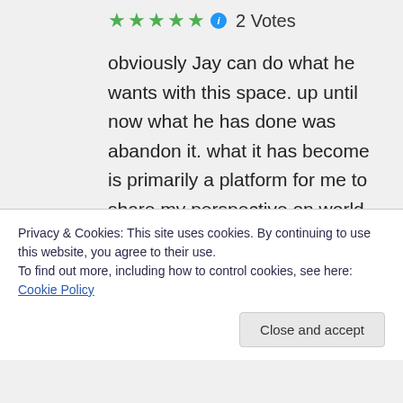[Figure (other): Five green star rating icons followed by a blue info icon and '2 Votes' label]
obviously Jay can do what he wants with this space. up until now what he has done was abandon it. what it has become is primarily a platform for me to share my perspective on world events. I would like to write more about local stuff, but the actions of people who don't like my opinions have made that much
Privacy & Cookies: This site uses cookies. By continuing to use this website, you agree to their use.
To find out more, including how to control cookies, see here: Cookie Policy
Close and accept